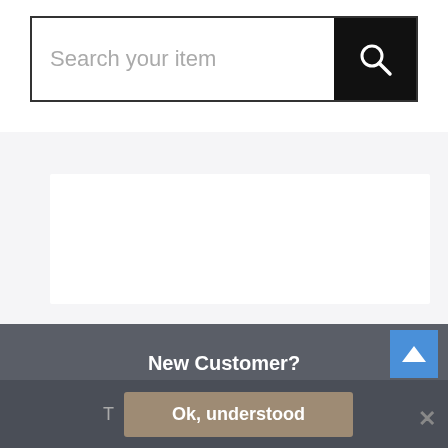[Figure (screenshot): Search bar with text input field showing placeholder 'Search your item' and a black search button with magnifying glass icon]
[Figure (screenshot): White content card area on light gray background]
New Customer?
Register to open a business account
The Officeworx Team
Ok, understood